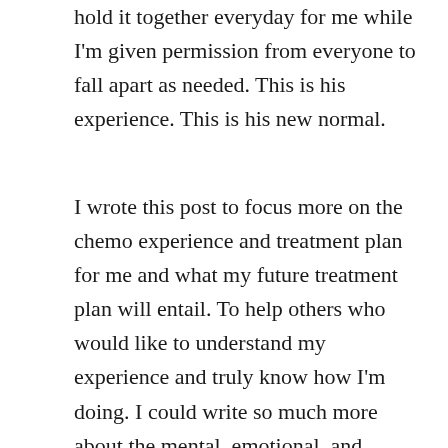hold it together everyday for me while I'm given permission from everyone to fall apart as needed. This is his experience. This is his new normal.
I wrote this post to focus more on the chemo experience and treatment plan for me and what my future treatment plan will entail. To help others who would like to understand my experience and truly know how I'm doing. I could write so much more about the mental, emotional, and spiritual aspect of my journey. But I will save that for another day. God has been so faithful and so present. I walk through the valley of the shadow with Him right there with me. His will, not mine. His plan is perfect, and I am content in his peace as I walk with him in his plan for me to bring glory to His Name.